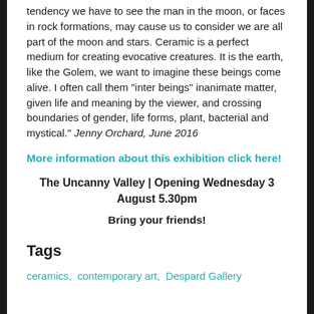tendency we have to see the man in the moon, or faces in rock formations, may cause us to consider we are all part of the moon and stars. Ceramic is a perfect medium for creating evocative creatures. It is the earth, like the Golem, we want to imagine these beings come alive. I often call them “inter beings” inanimate matter, given life and meaning by the viewer, and crossing boundaries of gender, life forms, plant, bacterial and mystical.” Jenny Orchard, June 2016
More information about this exhibition click here!
The Uncanny Valley | Opening Wednesday 3 August 5.30pm
Bring your friends!
Tags
ceramics,  contemporary art,  Despard Gallery